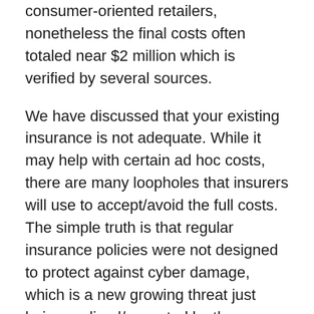consumer-oriented retailers, nonetheless the final costs often totaled near $2 million which is verified by several sources.
We have discussed that your existing insurance is not adequate. While it may help with certain ad hoc costs, there are many loopholes that insurers will use to accept/avoid the full costs. The simple truth is that regular insurance policies were not designed to protect against cyber damage, which is a new growing threat just being realized/accepted by the conservative insurance industry.
Among the necessary coverages for a meaningful cyber policy are:
1. Response costs which could include the